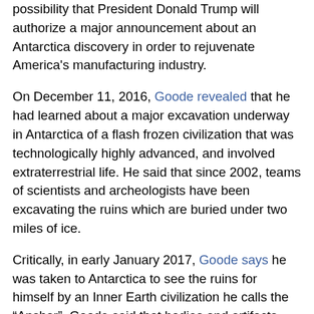possibility that President Donald Trump will authorize a major announcement about an Antarctica discovery in order to rejuvenate America's manufacturing industry.
On December 11, 2016, Goode revealed that he had learned about a major excavation underway in Antarctica of a flash frozen civilization that was technologically highly advanced, and involved extraterrestrial life. He said that since 2002, teams of scientists and archeologists have been excavating the ruins which are buried under two miles of ice.
Critically, in early January 2017, Goode says he was taken to Antarctica to see the ruins for himself by an Inner Earth civilization he calls the “Anshar”. Goode said that bodies and artifacts that are extraterrestrial in origin were being removed and replaced by terrestrial objects from warehouses secretly located elsewhere around the planet. The goal appears to be one of both sanitizing the area of any extraterrestrial evidence, while seeding artifacts that steer scientific analysis towards a desired